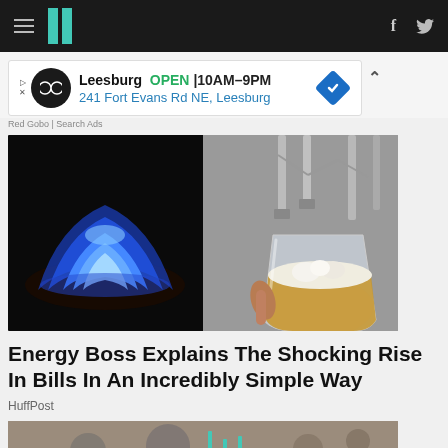HuffPost navigation bar with hamburger menu, logo, and social icons (f, Twitter)
[Figure (other): Advertisement banner: Leesburg OPEN 10AM-9PM, 241 Fort Evans Rd NE, Leesburg. Red Gobo | Search Ads attribution.]
[Figure (photo): Split image: left half shows blue gas flame on black background; right half shows beer taps with someone holding a full glass of beer.]
Energy Boss Explains The Shocking Rise In Bills In An Incredibly Simple Way
HuffPost
[Figure (photo): Partial view of a second article image at the bottom of the page (cropped).]